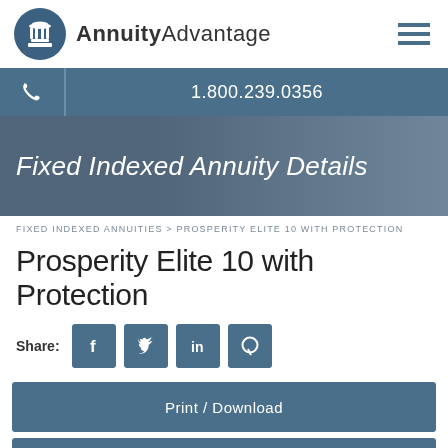[Figure (logo): AnnuityAdvantage logo with circular column icon and company name]
1.800.239.0356
[Figure (photo): Hero banner with Fixed Indexed Annuity Details text over a blurred photo of business people]
FIXED INDEXED ANNUITIES > PROSPERITY ELITE 10 WITH PROTECTION
Prosperity Elite 10 with Protection
Share:
Print / Download